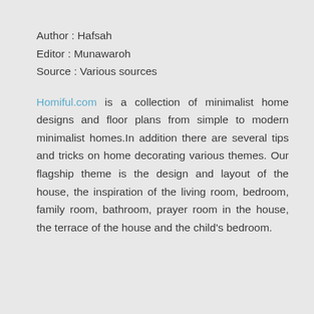Author : Hafsah
Editor : Munawaroh
Source : Various sources
Homiful.com is a collection of minimalist home designs and floor plans from simple to modern minimalist homes.In addition there are several tips and tricks on home decorating various themes. Our flagship theme is the design and layout of the house, the inspiration of the living room, bedroom, family room, bathroom, prayer room in the house, the terrace of the house and the child's bedroom.